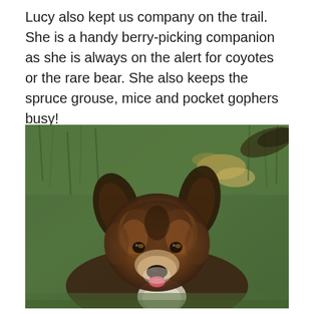Lucy also kept us company on the trail. She is a handy berry-picking companion as she is always on the alert for coyotes or the rare bear. She also keeps the spruce grouse, mice and pocket gophers busy!
[Figure (photo): A brown and black dog with alert ears, face looking up at the camera, sitting in green grass with some yellow-brown leaves visible in the background.]